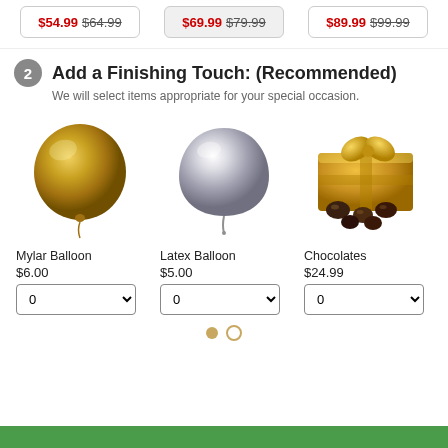$54.99 $64.99 | $69.99 $79.99 | $89.99 $99.99
2 Add a Finishing Touch: (Recommended)
We will select items appropriate for your special occasion.
[Figure (illustration): Gold mylar round balloon]
Mylar Balloon
$6.00
[Figure (illustration): Silver latex balloon]
Latex Balloon
$5.00
[Figure (illustration): Gold box of chocolates with bow]
Chocolates
$24.99